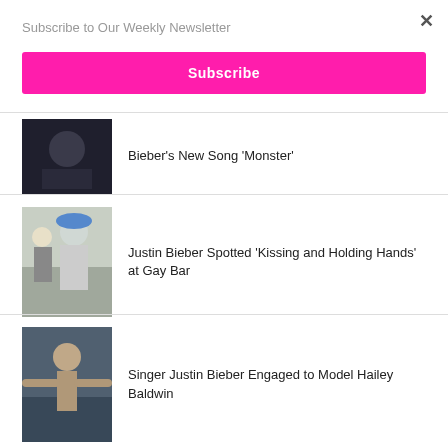Subscribe to Our Weekly Newsletter
Subscribe
Bieber's New Song 'Monster'
[Figure (photo): Dark moody photo related to Bieber's song Monster]
Justin Bieber Spotted 'Kissing and Holding Hands' at Gay Bar
[Figure (photo): Justin Bieber with people outside, wearing a blue cap and grey hoodie]
Singer Justin Bieber Engaged to Model Hailey Baldwin
[Figure (photo): Justin Bieber with tattoos, arms outstretched, dark background]